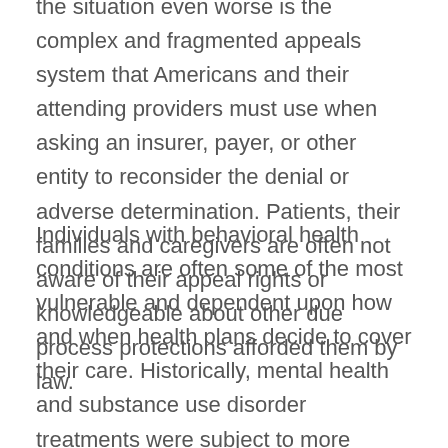the situation even worse is the complex and fragmented appeals system that Americans and their attending providers must use when asking an insurer, payer, or other entity to reconsider the denial or adverse determination.  Patients, their families and caregivers are often not aware of their appeal rights or knowledgeable about other due process protections afforded them by law.
Individuals with behavioral health conditions are often some of the most vulnerable and dependent upon how and when health plans decide to cover their care.  Historically, mental health and substance use disorder treatments were subject to more restrictive limits than medical and surgical services, resulting in frequent care denials and other adverse determinations. Prior to 2008, these unequal medical management practices were legal in many states.  Thus, individuals typically could not use the appeals process to question unfair and